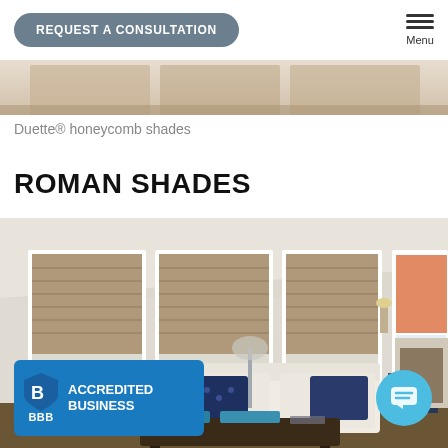REQUEST A CONSULTATION  Menu
[Figure (photo): Partial view of a room with honeycomb window shades, top portion cropped]
Duette® honeycomb shades
ROMAN SHADES
[Figure (photo): Living room with Roman shades on tall windows, white sofa with navy blue pillows, coffee table, warm neutral tones]
[Figure (logo): BBB Accredited Business badge with blue background]
[Figure (other): Teal circular chat button with message icon]